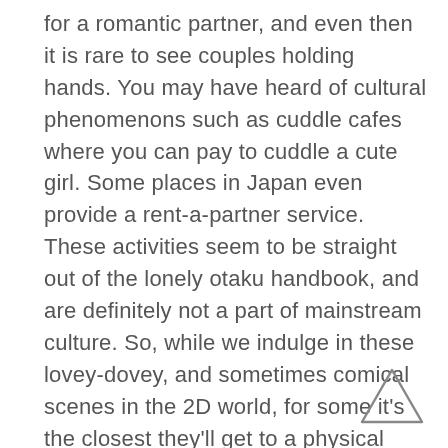for a romantic partner, and even then it is rare to see couples holding hands. You may have heard of cultural phenomenons such as cuddle cafes where you can pay to cuddle a cute girl. Some places in Japan even provide a rent-a-partner service. These activities seem to be straight out of the lonely otaku handbook, and are definitely not a part of mainstream culture. So, while we indulge in these lovey-dovey, and sometimes comical scenes in the 2D world, for some it's the closest they'll get to a physical connection—intimate or otherwise—in the 3D world.
[Figure (illustration): A simple triangle outline (upward-pointing) in the lower right corner of the page]